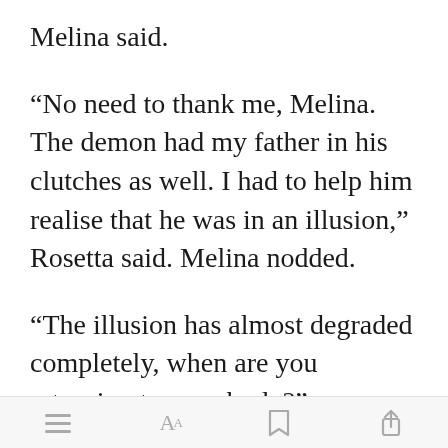Melina said.
“No need to thank me, Melina. The demon had my father in his clutches as well. I had to help him realise that he was in an illusion,” Rosetta said. Melina nodded.
“The illusion has almost degraded completely, when are you returning to your body?” Melina asked.
[Figure (screenshot): Green 'Open in app' button overlay on text]
Bottom toolbar with menu, font, bookmark, and share icons